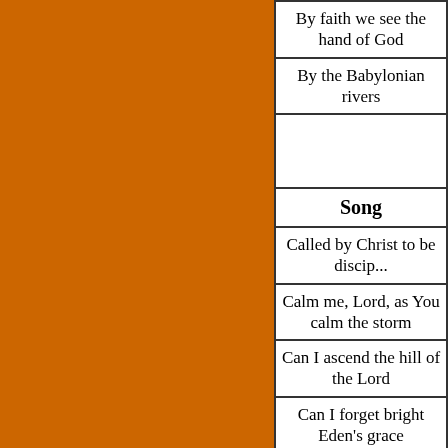[Figure (other): Orange/brown colored rectangular panel on the left side of the page]
| Song |
| --- |
| By faith we see the hand of God |
| By the Babylonian rivers |
|  |
| Song |
| Called by Christ to be disci... |
| Calm me, Lord, as You calm the storm |
| Can I ascend the hill of the Lord |
| Can I forget bright Eden's grace |
| Can we by searching find our God |
| Can we love one another |
| Can we walk upon the wa... |